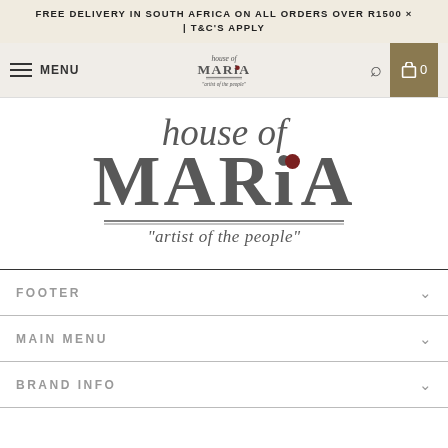FREE DELIVERY IN SOUTH AFRICA ON ALL ORDERS OVER R1500 | T&C'S APPLY
[Figure (logo): Navigation bar with hamburger menu icon, MENU text, House of Maria logo, search icon, and cart button showing 0 items]
[Figure (logo): House of Maria brand logo — large italic 'house of' above bold serif 'MARiA' with red dot over the i, double horizontal lines below, and italic tagline 'artist of the people']
FOOTER
MAIN MENU
BRAND INFO